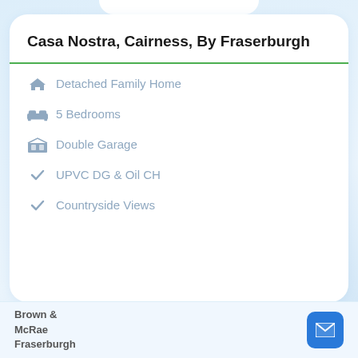Casa Nostra, Cairness, By Fraserburgh
Detached Family Home
5 Bedrooms
Double Garage
UPVC DG & Oil CH
Countryside Views
Brown & McRae Fraserburgh